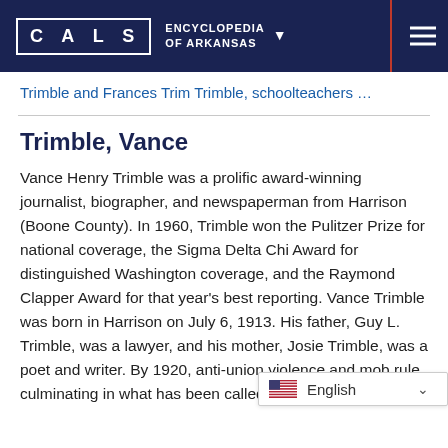CALS ENCYCLOPEDIA OF ARKANSAS
Trimble and Frances Trim Trimble, schoolteachers …
Trimble, Vance
Vance Henry Trimble was a prolific award-winning journalist, biographer, and newspaperman from Harrison (Boone County). In 1960, Trimble won the Pulitzer Prize for national coverage, the Sigma Delta Chi Award for distinguished Washington coverage, and the Raymond Clapper Award for that year's best reporting. Vance Trimble was born in Harrison on July 6, 1913. His father, Guy L. Trimble, was a lawyer, and his mother, Josie Trimble, was a poet and writer. By 1920, anti-union violence and mob rule, culminating in what has been called the Har… forced Guy Trimble to resign…